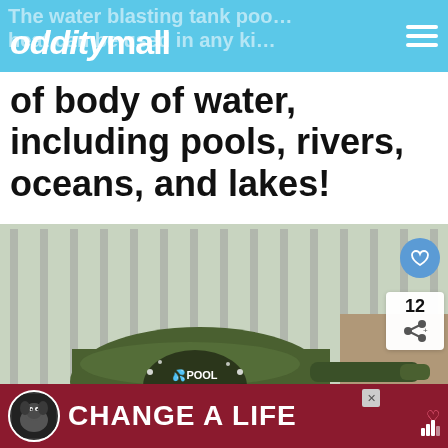odditymall
of body of water, including pools, rivers, oceans, and lakes!
[Figure (photo): Inflatable army tank pool float (Pool Punisher) floating in a swimming pool, with 'WHAT'S NEXT: Slice Of Pizza Pool Float' overlay in bottom right corner, heart and share buttons on the right side.]
WHAT'S NEXT → Slice Of Pizza Pool Float
CHANGE A LIFE